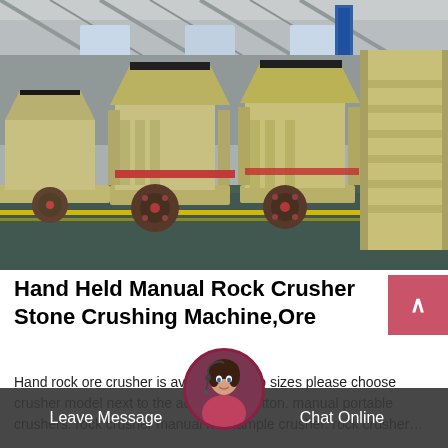[Figure (photo): Industrial factory floor with multiple large yellow stone crushing machines (impact crushers) lined up, with industrial building structure visible in background. Green painted floor with yellow line markings.]
Hand Held Manual Rock Crusher Stone Crushing Machine,Ore
Hand rock ore crusher is available in two sizes please choose crusher model next to the add to cart button. manual portable crushers. rock crusher manual h... sample crusher. rock crusher…